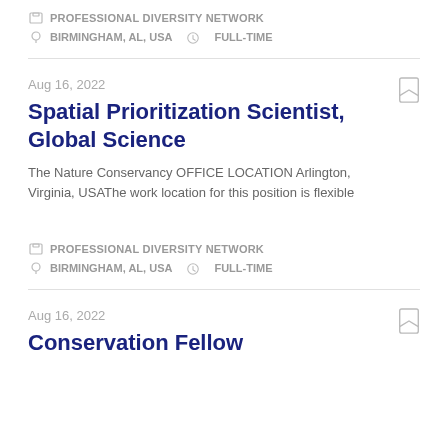PROFESSIONAL DIVERSITY NETWORK
BIRMINGHAM, AL, USA   FULL-TIME
Aug 16, 2022
Spatial Prioritization Scientist, Global Science
The Nature Conservancy OFFICE LOCATION Arlington, Virginia, USAThe work location for this position is flexible
PROFESSIONAL DIVERSITY NETWORK
BIRMINGHAM, AL, USA   FULL-TIME
Aug 16, 2022
Conservation Fellow